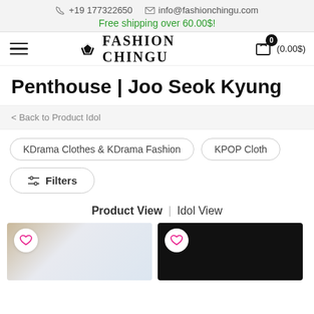+19 177322650   info@fashionchingu.com
Free shipping over 60.00$!
[Figure (logo): Fashion Chingu logo with star icon and cart showing 0 items (0.00$)]
Penthouse | Joo Seok Kyung
< Back to Product Idol
KDrama Clothes & KDrama Fashion   KPOP Cloth
Filters
Product View | Idol View
[Figure (photo): Product image with wooden frame, light background, with pink heart wishlist button]
[Figure (photo): Product image with dark/black background, with pink heart wishlist button]